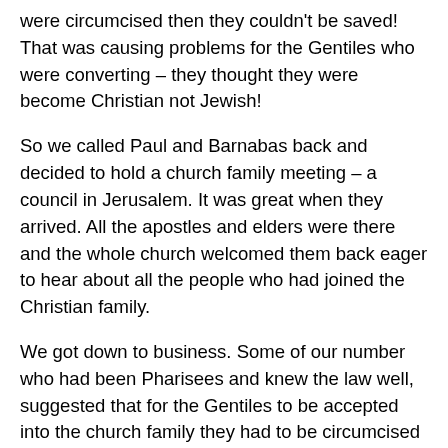were circumcised then they couldn't be saved! That was causing problems for the Gentiles who were converting – they thought they were become Christian not Jewish!
So we called Paul and Barnabas back and decided to hold a church family meeting – a council in Jerusalem. It was great when they arrived. All the apostles and elders were there and the whole church welcomed them back eager to hear about all the people who had joined the Christian family.
We got down to business. Some of our number who had been Pharisees and knew the law well, suggested that for the Gentiles to be accepted into the church family they had to be circumcised and required to obey the law of Moses. We talked lots about this.
Eventually we got the Apostle Peter up to try and settle the